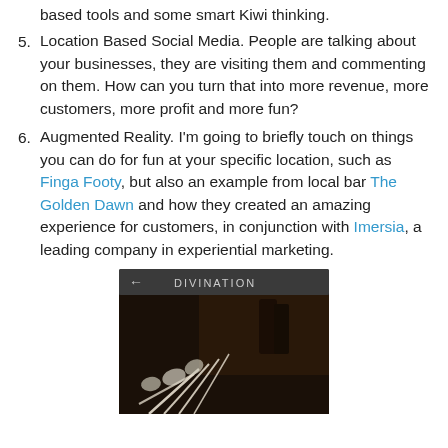based tools and some smart Kiwi thinking.
5. Location Based Social Media. People are talking about your businesses, they are visiting them and commenting on them. How can you turn that into more revenue, more customers, more profit and more fun?
6. Augmented Reality. I'm going to briefly touch on things you can do for fun at your specific location, such as Finga Footy, but also an example from local bar The Golden Dawn and how they created an amazing experience for customers, in conjunction with Imersia, a leading company in experiential marketing.
[Figure (screenshot): Screenshot of a mobile app showing a dark image with hand/skeletal imagery and the header 'DIVINATION' with a back arrow.]